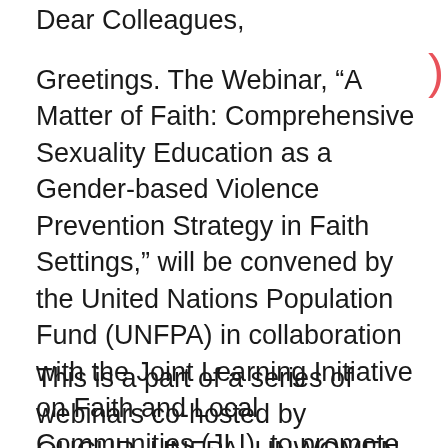Dear Colleagues,
Greetings. The Webinar, “A Matter of Faith: Comprehensive Sexuality Education as a Gender-based Violence Prevention Strategy in Faith Settings,” will be convened by the United Nations Population Fund (UNFPA) in collaboration with the Joint Learning Initiative on Faith and Local Communities (JLI)  to promote an open conversation on the potential and the challenges of engagement by faith actors on CSE.
This is a part of a series of webinars co-hosted by OHCHR, UNFPA, UNWOMEN and JLI and the Sexual Violence Research Initiative